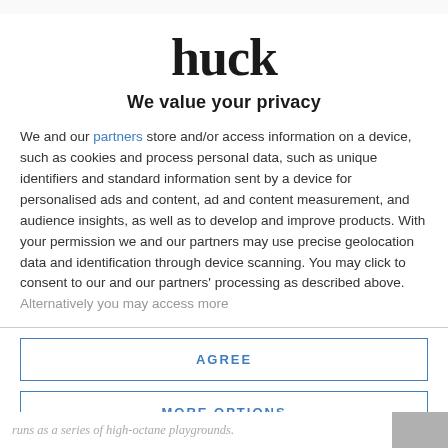[Figure (logo): Huck magazine logo in large bold serif font]
We value your privacy
We and our partners store and/or access information on a device, such as cookies and process personal data, such as unique identifiers and standard information sent by a device for personalised ads and content, ad and content measurement, and audience insights, as well as to develop and improve products. With your permission we and our partners may use precise geolocation data and identification through device scanning. You may click to consent to our and our partners' processing as described above. Alternatively you may access more
AGREE
MORE OPTIONS
runs as a series of high-octane playgrounds.